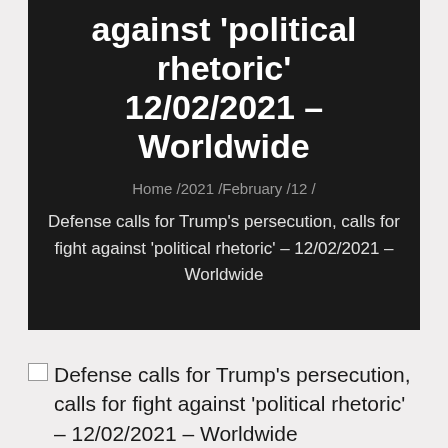against 'political rhetoric' 12/02/2021 – Worldwide
Home /2021 /February /12 /
Defense calls for Trump's persecution, calls for fight against 'political rhetoric' – 12/02/2021 – Worldwide
[Figure (photo): Broken image placeholder with alt text: Defense calls for Trump's persecution, calls for fight against 'political rhetoric' – 12/02/2021 – Worldwide]